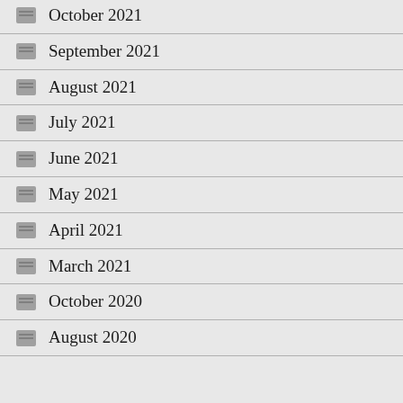October 2021
September 2021
August 2021
July 2021
June 2021
May 2021
April 2021
March 2021
October 2020
August 2020